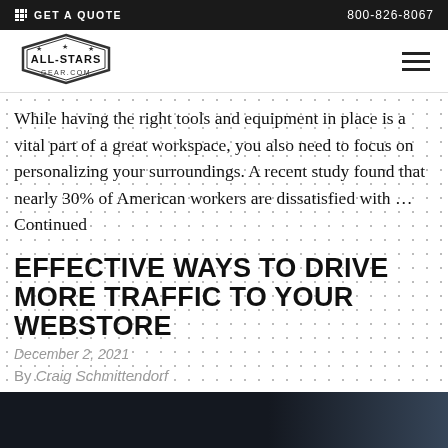GET A QUOTE  800-826-8067
[Figure (logo): All-Stars Gear.com logo in hexagon shape with stars]
While having the right tools and equipment in place is a vital part of a great workspace, you also need to focus on personalizing your surroundings. A recent study found that nearly 30% of American workers are dissatisfied with … Continued
EFFECTIVE WAYS TO DRIVE MORE TRAFFIC TO YOUR WEBSTORE
December 2, 2021
By Craig Schmittendorf
[Figure (photo): Dark photo, mostly black with slight blue gradient to the right]